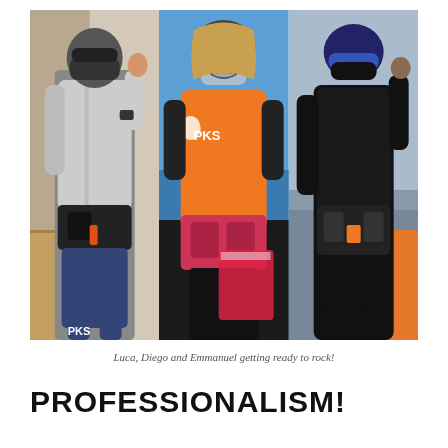[Figure (photo): Three-panel composite photo showing three kitesurfing instructors/staff wearing PKS branded gear, masks, helmets, and harnesses, posing ready for action at a beach/outdoor location.]
Luca, Diego and Emmanuel getting ready to rock!
PROFESSIONALISM!